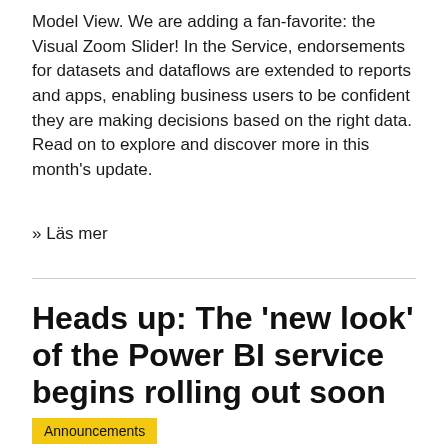Model View. We are adding a fan-favorite: the Visual Zoom Slider! In the Service, endorsements for datasets and dataflows are extended to reports and apps, enabling business users to be confident they are making decisions based on the right data. Read on to explore and discover more in this month's update.
» Läs mer
Heads up: The 'new look' of the Power BI service begins rolling out soon
Announcements